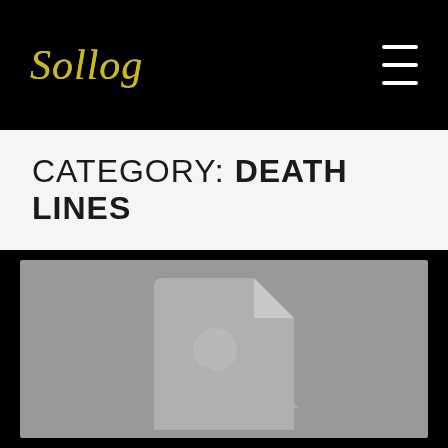Sollog
CATEGORY: DEATH LINES
[Figure (illustration): Gray placeholder image with a document/image icon — a stylized page with a folded corner, a circle in the upper portion, and a mountain/landscape shape in the lower portion, all rendered in light gray against a medium gray background.]